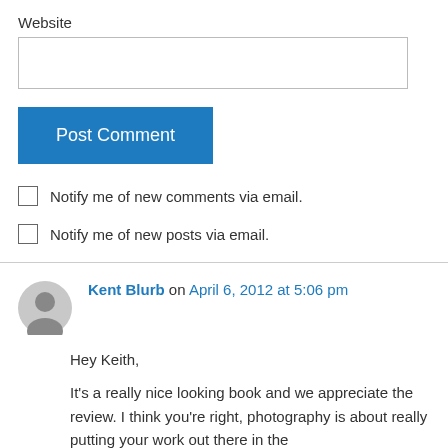Website
Post Comment
Notify me of new comments via email.
Notify me of new posts via email.
Kent Blurb on April 6, 2012 at 5:06 pm
Hey Keith,
It's a really nice looking book and we appreciate the review. I think you're right, photography is about really putting your work out there in the